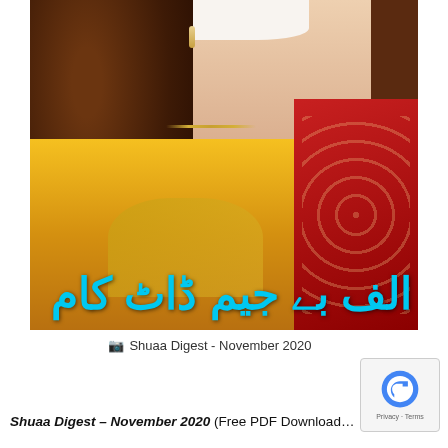[Figure (photo): Cover of Shuaa Digest November 2020 showing a woman in a yellow embroidered dress with red dupatta, brown curly hair, jewelry. Urdu text in blue overlay reads the website name.]
Shuaa Digest - November 2020
Shuaa Digest – November 2020 (Free PDF Download or Fr...